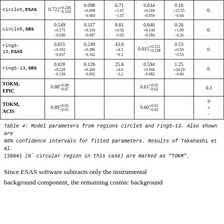| Region | NH | kT | norm×10^-5 | Abund | flux | col6 |
| --- | --- | --- | --- | --- | --- | --- |
| circle5,ESAS | 0.722+0.236/-0.103 | 0.098 +0.098/-0.060 | 6.71 +1.07/-1.07 | 0.634 +0.169/-0.059 | 0.16 +11.55/-0.04 | 0. |
| circle5,SBS | 0.549 +0.171/-0.030 | 0.117 +0.116/-0.047 | 8.61 +0.92/-0.65 | 0.640 +0.144/-0.184 | 0.26 +1.09/-0.26 | 0. |
| ring5-13,ESAS | 0.655 +0.192/-0.037 | 0.249 +0.386/-0.162 | 43.0 +4.5/-9.3 | 0.615+0.121/-0.138 | 0.53 +0.50/-0.53 | 0. |
| ring5-13,SBS | 0.628 +0.229/-0.139 | 0.126 +0.266/-0.092 | 25.6 +4.0/-3.2 | 0.594 +0.160/-0.082 | 1.25 +34.19/-0.69 | 0. |
| TOKM, EPIC | 0.88+0.08/-0.07 |  |  | 0.61+0.03/-0.02 |  | 0.3 |
| TOKM, ACIS | 0.89+0.02/-0.01 |  |  | 0.60+0.03/-0.02 |  | 0 |
Table 4: Model parameters from regions circle5 and ring5-13. Also shown are 90% confidence intervals for fitted parameters. Results of Takahashi et al. (2004) (6' circular region in this case) are marked as "TOKM".
Since ESAS software subtracts only the instrumental background component, the remaining cosmic background